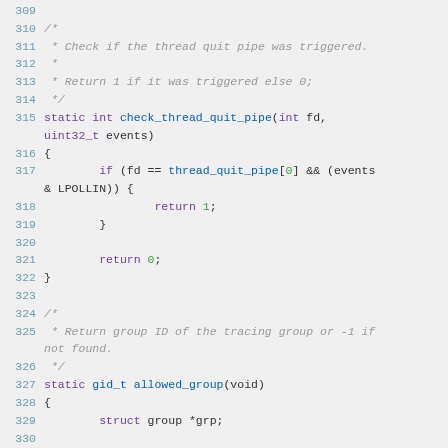Source code listing lines 309-329, C code for check_thread_quit_pipe and allowed_group functions